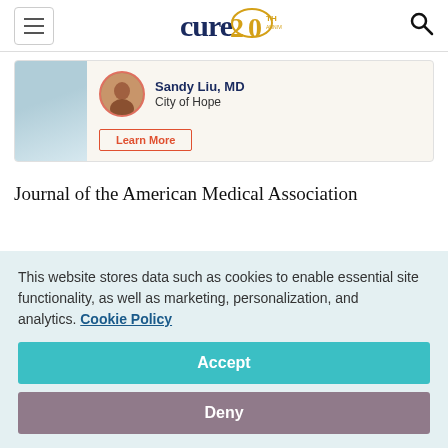CURE 20TH ANNIVERSARY
[Figure (photo): Promo card with Sandy Liu MD from City of Hope, featuring a portrait photo and Learn More button]
Journal of the American Medical Association
This website stores data such as cookies to enable essential site functionality, as well as marketing, personalization, and analytics. Cookie Policy
Accept
Deny